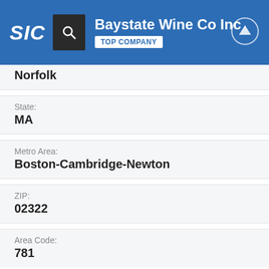Baystate Wine Co Inc — TOP COMPANY
Norfolk
State: MA
Metro Area: Boston-Cambridge-Newton
ZIP: 02322
Area Code: 781